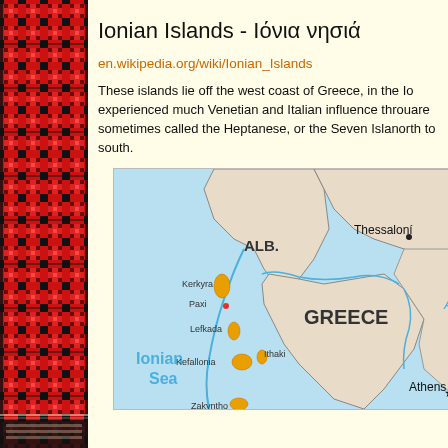[Figure (illustration): Decorative red and black woven textile pattern border on the left side of the page]
Ionian Islands - Ιόνια νησιά
en.wikipedia.org/wiki/Ionian_Islands
These islands lie off the west coast of Greece, in the Io... experienced much Venetian and Italian influence throu... are sometimes called the Heptanese, or the Seven Isla... north to south.
[Figure (map): Map of the Ionian Islands region showing Greece, Albania (ALB.), Thessaloníki, Athens, Ionian Sea, Kerkyra, Paxi, Lefkada, Kefallonia, Ithaki, and partial view of Zakynthos. Islands are highlighted in orange/yellow. Blue lines represent coastlines and sea. The Aegean Sea (Ae...) is partially visible on the right.]